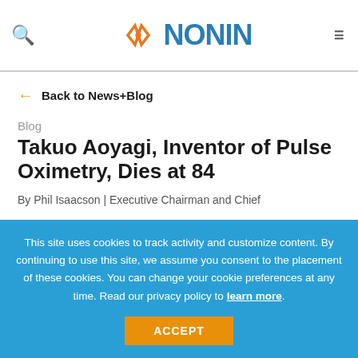NONIN (logo/navigation header)
← Back to News+Blog
Blog
Takuo Aoyagi, Inventor of Pulse Oximetry, Dies at 84
By Phil Isaacson | Executive Chairman and Chief
This site uses cookies to track activity and customize content. By continuing to use this site, we assume you consent to the placement of these cookies. You can change your cookie preferences at any time. Read our privacy policy to learn more.
ACCEPT